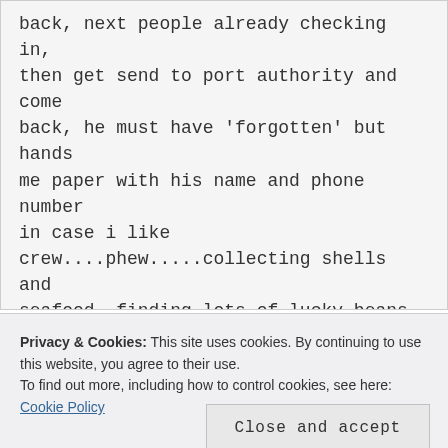back, next people already checking in, then get send to port authority and come back, he must have 'forgotten' but hands me paper with his name and phone number in case i like crew....phew.....collecting shells and seafood, finding lots of lucky beans which bring me no luck, lonely days recovering from hectic life and some not so nice sailors around, sad farewells to short-term cruisers going back to Europe, enjoying life on Barbuda and
Privacy & Cookies: This site uses cookies. By continuing to use this website, you agree to their use.
To find out more, including how to control cookies, see here: Cookie Policy
Close and accept